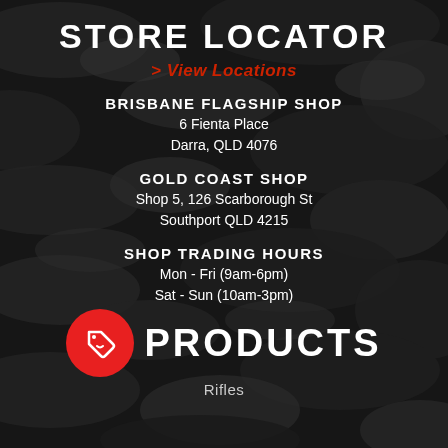STORE LOCATOR
> View Locations
BRISBANE FLAGSHIP SHOP
6 Fienta Place
Darra, QLD 4076
GOLD COAST SHOP
Shop 5, 126 Scarborough St
Southport QLD 4215
SHOP TRADING HOURS
Mon - Fri (9am-6pm)
Sat - Sun (10am-3pm)
PRODUCTS
Rifles